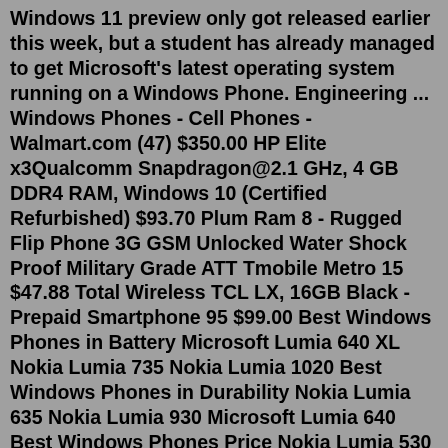Windows 11 preview only got released earlier this week, but a student has already managed to get Microsoft's latest operating system running on a Windows Phone. Engineering ... Windows Phones - Cell Phones - Walmart.com (47) $350.00 HP Elite x3Qualcomm Snapdragon@2.1 GHz, 4 GB DDR4 RAM, Windows 10 (Certified Refurbished) $93.70 Plum Ram 8 - Rugged Flip Phone 3G GSM Unlocked Water Shock Proof Military Grade ATT Tmobile Metro 15 $47.88 Total Wireless TCL LX, 16GB Black - Prepaid Smartphone 95 $99.00 Best Windows Phones in Battery Microsoft Lumia 640 XL Nokia Lumia 735 Nokia Lumia 1020 Best Windows Phones in Durability Nokia Lumia 635 Nokia Lumia 930 Microsoft Lumia 640 Best Windows Phones Price Nokia Lumia 530 Nokia Lumia 1520 How We Picked Frequently Asked Questions Conclusion Buyers Guide: Things to Consider Before Buying a Windows PhoneThe latest Windows smartphones deliver a unique experience unlike any other. Windows phones offer great variety, and different models appeal to